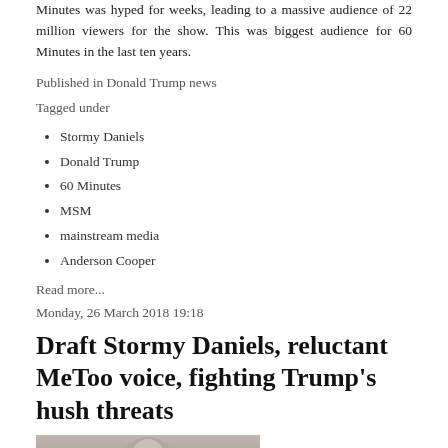Minutes was hyped for weeks, leading to a massive audience of 22 million viewers for the show. This was biggest audience for 60 Minutes in the last ten years.
Published in Donald Trump news
Tagged under
Stormy Daniels
Donald Trump
60 Minutes
MSM
mainstream media
Anderson Cooper
Read more...
Monday, 26 March 2018 19:18
Draft Stormy Daniels, reluctant MeToo voice, fighting Trump's hush threats
[Figure (photo): Photo of a person, partially visible at the bottom of the page]